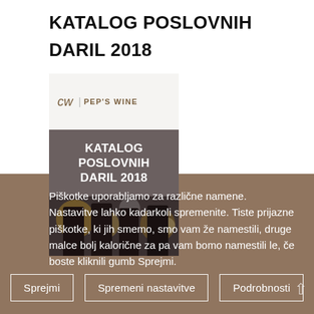KATALOG POSLOVNIH DARIL 2018
[Figure (photo): Catalog cover for 'Katalog Poslovnih Daril 2018' by Pep's Wine, showing the logo at top on a light background, the title text in white on a dark grey/brown middle band, and wine bottles with bokeh lights on a dark background at the bottom.]
Piškotke uporabljamo za različne namene. Nastavitve lahko kadarkoli spremenite. Tiste prijazne piškotke, ki jih smemo, smo vam že namestili, druge malce bolj kalorične za pa vam bomo namestili le, če boste kliknili gumb Sprejmi.
Sprejmi
Spremeni nastavitve
Podrobnosti